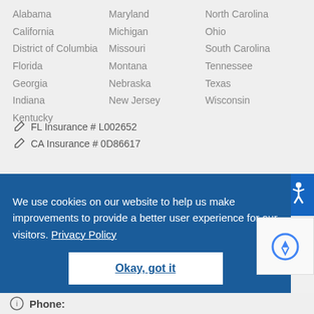Alabama
California
District of Columbia
Florida
Georgia
Indiana
Kentucky
Maryland
Michigan
Missouri
Montana
Nebraska
New Jersey
North Carolina
Ohio
South Carolina
Tennessee
Texas
Wisconsin
FL Insurance # L002652
CA Insurance # 0D86617
We use cookies on our website to help us make improvements to provide a better user experience for our visitors. Privacy Policy
Okay, got it
Phone: